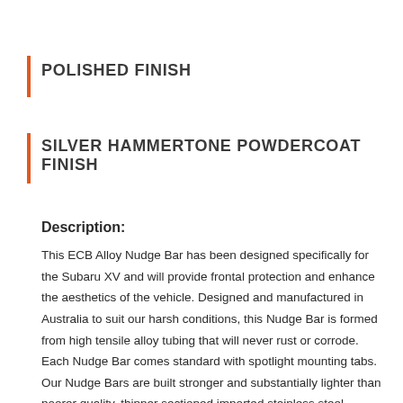POLISHED FINISH
SILVER HAMMERTONE POWDERCOAT FINISH
Description:
This ECB Alloy Nudge Bar has been designed specifically for the Subaru XV and will provide frontal protection and enhance the aesthetics of the vehicle. Designed and manufactured in Australia to suit our harsh conditions, this Nudge Bar is formed from high tensile alloy tubing that will never rust or corrode. Each Nudge Bar comes standard with spotlight mounting tabs. Our Nudge Bars are built stronger and substantially lighter than poorer quality, thinner sectioned imported stainless steel alternatives and come with a lifetime warranty. Your ECB Nudge Bar is available in a mirror polished finish or choose from one of our low maintenance powder coat finishes.